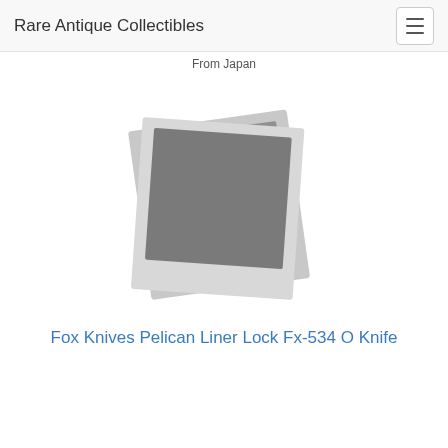Rare Antique Collectibles
From Japan
[Figure (photo): Placeholder product image shown as two overlapping polaroid-style photo frames with grey rectangles, indicating a missing or loading product image.]
Fox Knives Pelican Liner Lock Fx-534 O Knife